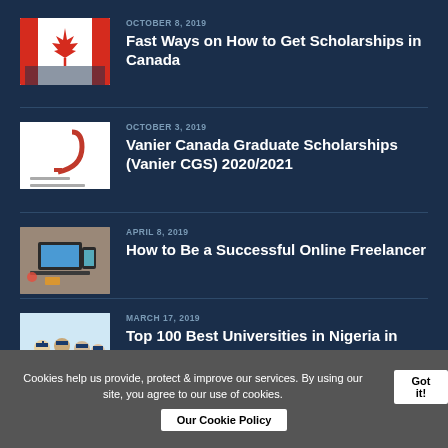OCTOBER 8, 2019 — Fast Ways on How to Get Scholarships in Canada
OCTOBER 3, 2019 — Vanier Canada Graduate Scholarships (Vanier CGS) 2020/2021
APRIL 8, 2019 — How to Be a Successful Online Freelancer
MARCH 17, 2019 — Top 100 Best Universities in Nigeria in 2020
Cookies help us provide, protect & improve our services. By using our site, you agree to our use of cookies.
Got it!
Our Cookie Policy